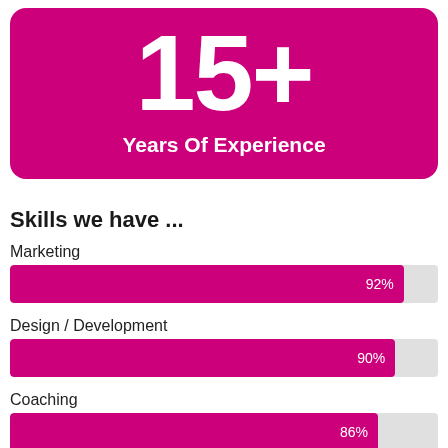[Figure (infographic): Magenta rounded rectangle box showing '15+' in large white bold text and 'Years Of Experience' subtitle in white bold text below]
Skills we have ...
[Figure (bar-chart): Skills]